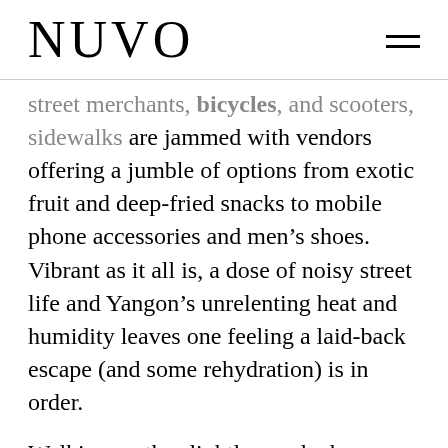NUVO
street merchants, bicycles, and scooters, sidewalks are jammed with vendors offering a jumble of options from exotic fruit and deep-fried snacks to mobile phone accessories and men’s shoes. Vibrant as it all is, a dose of noisy street life and Yangon’s unrelenting heat and humidity leaves one feeling a laid-back escape (and some rehydration) is in order.
Walking up the slightly crooked, winding wood stairs, the bold black logo of Rangoon Tea House is an early indication that a thoroughly contemporary restaurant exists in the heart of the city’s historic business district. Spacious and cool, this second-